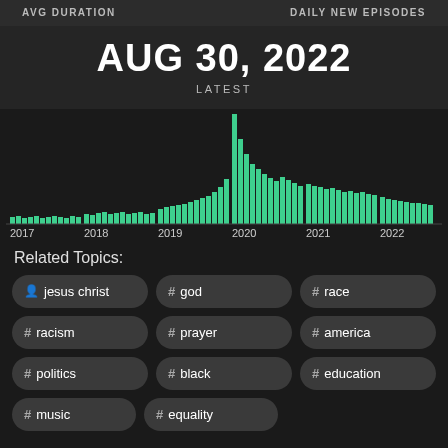AVG DURATION | DAILY NEW EPISODES
AUG 30, 2022
LATEST
[Figure (bar-chart): Bar chart showing daily new episodes from 2017 to 2022, with a sharp peak around early 2020]
Related Topics:
jesus christ
# god
# race
# racism
# prayer
# america
# politics
# black
# education
# music
# equality